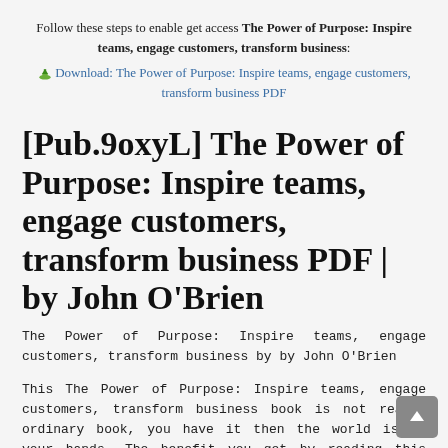Follow these steps to enable get access The Power of Purpose: Inspire teams, engage customers, transform business:
Download: The Power of Purpose: Inspire teams, engage customers, transform business PDF
[Pub.9oxyL] The Power of Purpose: Inspire teams, engage customers, transform business PDF | by John O'Brien
The Power of Purpose: Inspire teams, engage customers, transform business by by John O'Brien
This The Power of Purpose: Inspire teams, engage customers, transform business book is not really ordinary book, you have it then the world is in your hands. The benefit you get by reading this book is